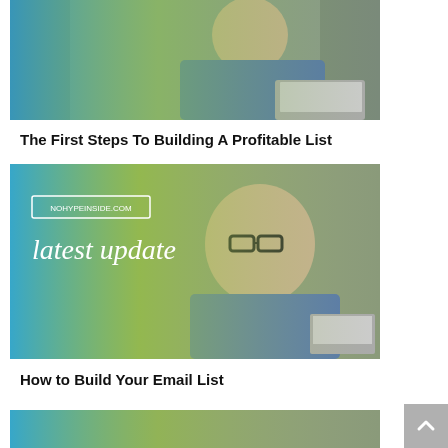[Figure (photo): Man in grey shirt smiling at laptop, with blue-green gradient overlay on left side]
The First Steps To Building A Profitable List
[Figure (photo): Man with glasses smiling at laptop, green background with text 'NOHYPEINSIDE.COM' and 'latest update']
How to Build Your Email List
[Figure (photo): Partial image of a third article thumbnail at the bottom of the page]